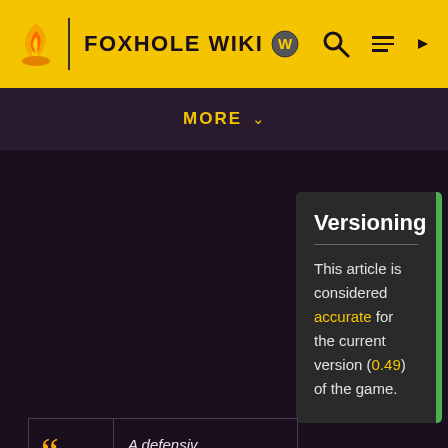FOXHOLE WIKI
MORE
Versioning
This article is considered accurate for the current version (0.49) of the game.
A defensive emplacement against heavily armoured vehicles.
– In-game description